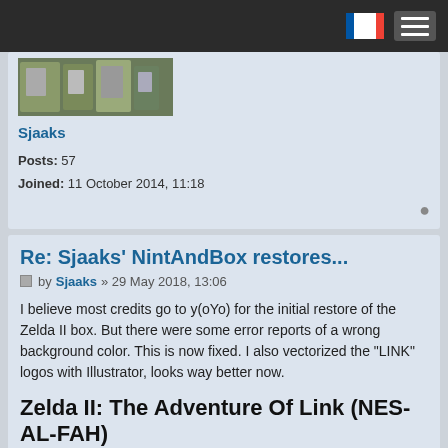[navigation bar with flag icon and hamburger menu]
[Figure (photo): Thumbnail image of gaming boxes/collection on shelves]
Sjaaks
Posts: 57
Joined: 11 October 2014, 11:18
Re: Sjaaks' NintAndBox restores...
by Sjaaks » 29 May 2018, 13:06
I believe most credits go to y(oYo) for the initial restore of the Zelda II box. But there were some error reports of a wrong background color. This is now fixed. I also vectorized the "LINK" logos with Illustrator, looks way better now.
Zelda II: The Adventure Of Link (NES-AL-FAH)
100% restored
All texts have been retyped. Illustrations have been cleaned or recreated.